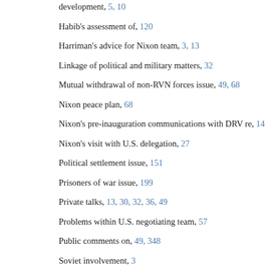development, 5, 10
Habib's assessment of, 120
Harriman's advice for Nixon team, 3, 13
Linkage of political and military matters, 32
Mutual withdrawal of non-RVN forces issue, 49, 68
Nixon peace plan, 68
Nixon's pre-inauguration communications with DRV re, 14
Nixon's visit with U.S. delegation, 27
Political settlement issue, 151
Prisoners of war issue, 199
Private talks, 13, 30, 32, 36, 49
Problems within U.S. negotiating team, 57
Public comments on, 49, 348
Soviet involvement, 3
U.S. protests re attacks in Vietnam, 30